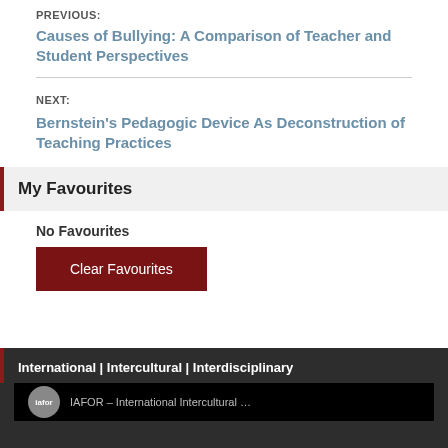PREVIOUS:
Causes of Bullying: A Comparison of Teacher and Student Perspectives
NEXT:
Bernstein's Pedagogic Device As Deconstruction of Teaching Practices
My Favourites
No Favourites
Clear Favourites
International | Intercultural | Interdisciplinary
IAFOR – International Intercultural…